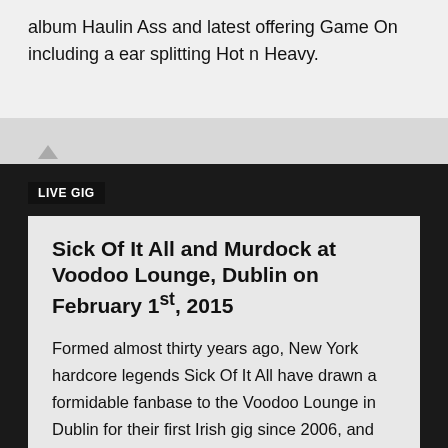album Haulin Ass and latest offering Game On including a ear splitting Hot n Heavy.
LIVE GIG
Sick Of It All and Murdock at Voodoo Lounge, Dublin on February 1st, 2015
Formed almost thirty years ago, New York hardcore legends Sick Of It All have drawn a formidable fanbase to the Voodoo Lounge in Dublin for their first Irish gig since 2006, and anybody with more than a fleeting interest in crossover hardcore, punk and metal is sure to enjoy tonight’s show.